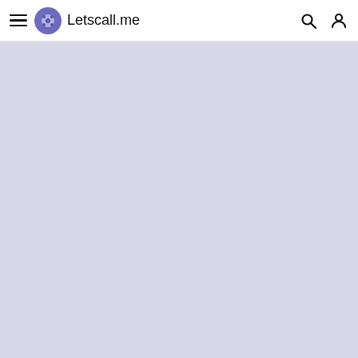Letscall.me
[Figure (screenshot): Main content area showing a light lavender/periwinkle blank background below the navigation bar]